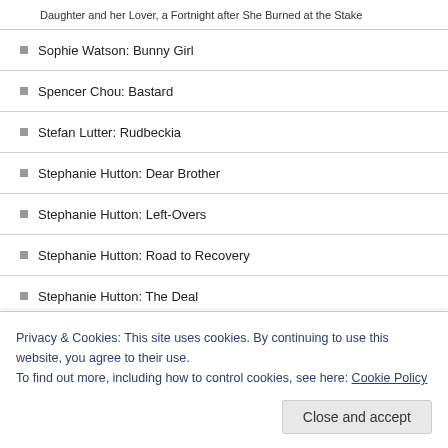Daughter and her Lover, a Fortnight after She Burned at the Stake
Sophie Watson: Bunny Girl
Spencer Chou: Bastard
Stefan Lutter: Rudbeckia
Stephanie Hutton: Dear Brother
Stephanie Hutton: Left-Overs
Stephanie Hutton: Road to Recovery
Stephanie Hutton: The Deal
Stephen Buehler: No More
Stephen Kelly: BUNNY TATTOO
Stephen Regan: His Bad Eminence
Privacy & Cookies: This site uses cookies. By continuing to use this website, you agree to their use. To find out more, including how to control cookies, see here: Cookie Policy